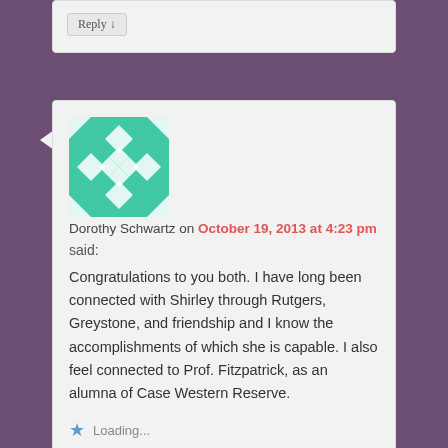Reply ↓
[Figure (illustration): Teal/green geometric avatar with diamond pattern]
Dorothy Schwartz on October 19, 2013 at 4:23 pm
said:
Congratulations to you both. I have long been connected with Shirley through Rutgers, Greystone, and friendship and I know the accomplishments of which she is capable. I also feel connected to Prof. Fitzpatrick, as an alumna of Case Western Reserve.
Loading...
Reply ↓